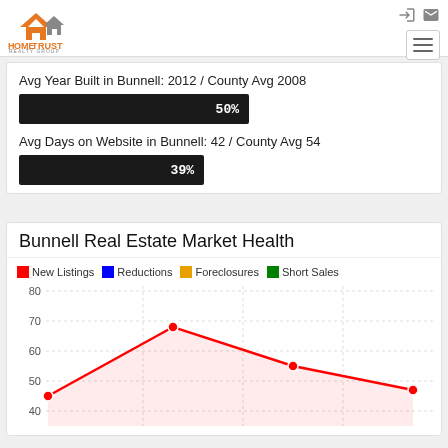[Figure (logo): HomeTrust Realty Group logo with orange house/roof icon and orange text]
Avg Year Built in Bunnell: 2012 / County Avg 2008
[Figure (bar-chart): Avg Year Built percentage bar]
Avg Days on Website in Bunnell: 42 / County Avg 54
[Figure (bar-chart): Avg Days on Website percentage bar]
Bunnell Real Estate Market Health
[Figure (line-chart): Bunnell Real Estate Market Health]